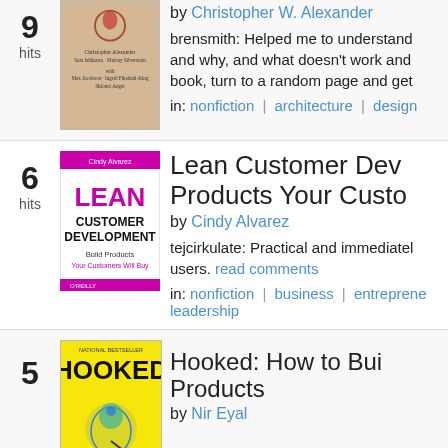9 hits — by Christopher W. Alexander — brensmith: Helped me to understand and why, and what doesn't work and book, turn to a random page and get — in: nonfiction | architecture | design
6 hits — Lean Customer Development: Build Products Your Customers Will Buy — by Cindy Alvarez — tejcirkulate: Practical and immediately users. read comments — in: nonfiction | business | entrepreneurship | leadership
5 hits — Hooked: How to Build Habit-Forming Products — by Nir Eyal